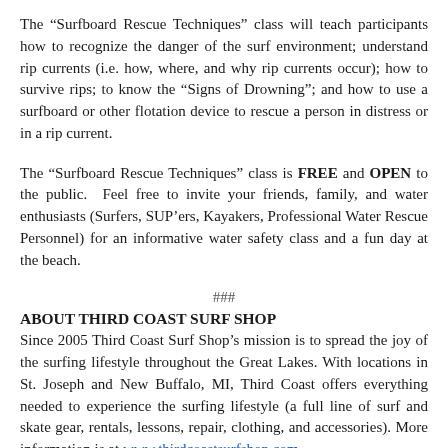The “Surfboard Rescue Techniques” class will teach participants how to recognize the danger of the surf environment; understand rip currents (i.e. how, where, and why rip currents occur); how to survive rips; to know the “Signs of Drowning”; and how to use a surfboard or other flotation device to rescue a person in distress or in a rip current.
The “Surfboard Rescue Techniques” class is FREE and OPEN to the public. Feel free to invite your friends, family, and water enthusiasts (Surfers, SUP’ers, Kayakers, Professional Water Rescue Personnel) for an informative water safety class and a fun day at the beach.
###
ABOUT THIRD COAST SURF SHOP
Since 2005 Third Coast Surf Shop’s mission is to spread the joy of the surfing lifestyle throughout the Great Lakes. With locations in St. Joseph and New Buffalo, MI, Third Coast offers everything needed to experience the surfing lifestyle (a full line of surf and skate gear, rentals, lessons, repair, clothing, and accessories). More information is at www.thirdcoastsurfshop.com.